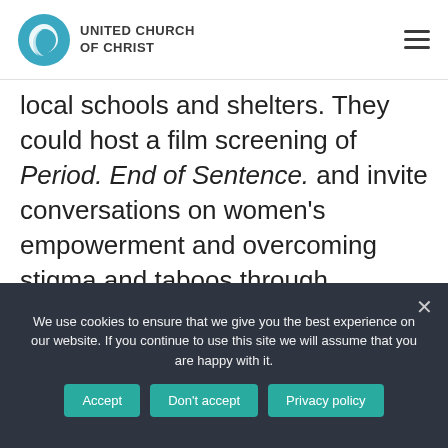UNITED CHURCH OF CHRIST
local schools and shelters. They could host a film screening of Period. End of Sentence. and invite conversations on women's empowerment and overcoming stigma and taboos through normalizing menstruation. They could write letters to Congress demanding that the “pink tax” on period products be removed. Together,
We use cookies to ensure that we give you the best experience on our website. If you continue to use this site we will assume that you are happy with it.